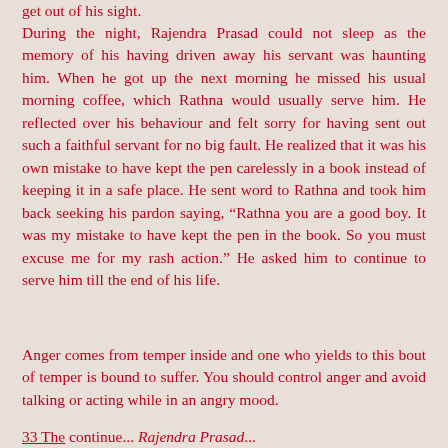get out of his sight.
During the night, Rajendra Prasad could not sleep as the memory of his having driven away his servant was haunting him. When he got up the next morning he missed his usual morning coffee, which Rathna would usually serve him. He reflected over his behaviour and felt sorry for having sent out such a faithful servant for no big fault. He realized that it was his own mistake to have kept the pen carelessly in a book instead of keeping it in a safe place. He sent word to Rathna and took him back seeking his pardon saying, “Rathna you are a good boy. It was my mistake to have kept the pen in the book. So you must excuse me for my rash action.” He asked him to continue to serve him till the end of his life.
Anger comes from temper inside and one who yields to this bout of temper is bound to suffer. You should control anger and avoid talking or acting while in an angry mood.
33 The continue... Rajendra Prasad...